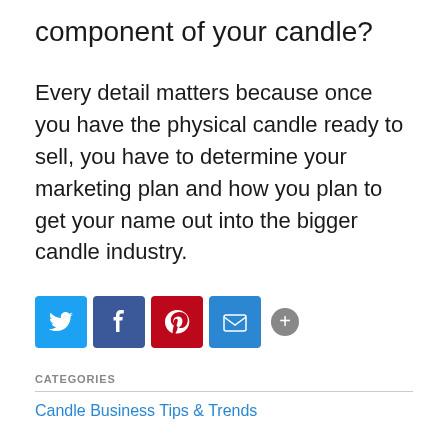component of your candle?
Every detail matters because once you have the physical candle ready to sell, you have to determine your marketing plan and how you plan to get your name out into the bigger candle industry.
[Figure (infographic): Social sharing buttons: Twitter (blue bird icon), Facebook (blue 'f' icon), Pinterest (red 'P' icon), Email (blue envelope icon), More (grey '+' icon)]
CATEGORIES
Candle Business Tips & Trends